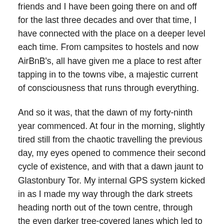friends and I have been going there on and off for the last three decades and over that time, I have connected with the place on a deeper level each time. From campsites to hostels and now AirBnB's, all have given me a place to rest after tapping in to the towns vibe, a majestic current of consciousness that runs through everything.
And so it was, that the dawn of my forty-ninth year commenced. At four in the morning, slightly tired still from the chaotic travelling the previous day, my eyes opened to commence their second cycle of existence, and with that a dawn jaunt to Glastonbury Tor. My internal GPS system kicked in as I made my way through the dark streets heading north out of the town centre, through the even darker tree-covered lanes which led to the Tor. Thankfully, and as I would have hoped, there was not a cloud in the sky. I bimbled my way over styals and through the